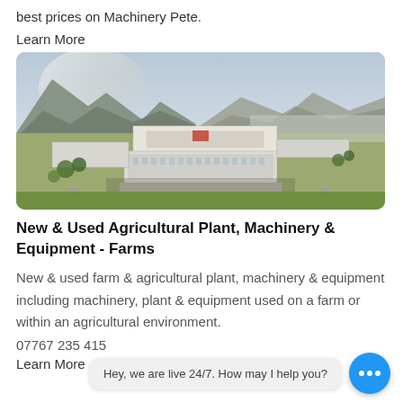best prices on Machinery Pete.
Learn More
[Figure (photo): Aerial drone view of a large industrial or institutional building complex with mountains in the background, green lawns and parking areas visible.]
New & Used Agricultural Plant, Machinery & Equipment - Farms
New & used farm & agricultural plant, machinery & equipment including machinery, plant & equipment used on a farm or within an agricultural environment.
07767 235 415
Learn More